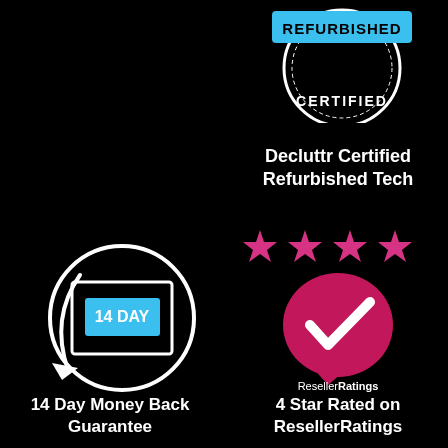[Figure (logo): Decluttr Certified Refurbished stamp/badge in blue and white at top right]
Decluttr Certified Refurbished Tech
[Figure (illustration): 14 Day return/money-back guarantee icon: circular arrow around a box labeled '14 DAY' in blue]
[Figure (illustration): Four pink/magenta stars above a pink chat bubble with white checkmark, ResellerRatings logo below]
14 Day Money Back Guarantee
4 Star Rated on ResellerRatings